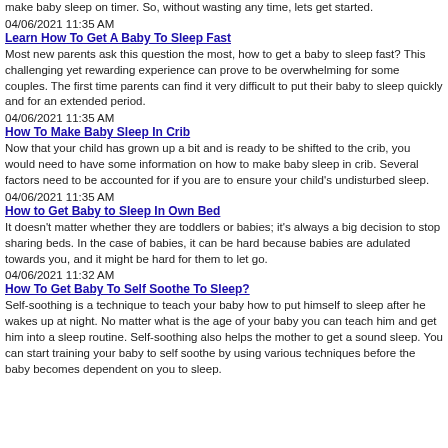make baby sleep on timer. So, without wasting any time, lets get started.
04/06/2021 11:35 AM
Learn How To Get A Baby To Sleep Fast
Most new parents ask this question the most, how to get a baby to sleep fast? This challenging yet rewarding experience can prove to be overwhelming for some couples. The first time parents can find it very difficult to put their baby to sleep quickly and for an extended period.
04/06/2021 11:35 AM
How To Make Baby Sleep In Crib
Now that your child has grown up a bit and is ready to be shifted to the crib, you would need to have some information on how to make baby sleep in crib. Several factors need to be accounted for if you are to ensure your child's undisturbed sleep.
04/06/2021 11:35 AM
How to Get Baby to Sleep In Own Bed
It doesn't matter whether they are toddlers or babies; it's always a big decision to stop sharing beds. In the case of babies, it can be hard because babies are adulated towards you, and it might be hard for them to let go.
04/06/2021 11:32 AM
How To Get Baby To Self Soothe To Sleep?
Self-soothing is a technique to teach your baby how to put himself to sleep after he wakes up at night. No matter what is the age of your baby you can teach him and get him into a sleep routine. Self-soothing also helps the mother to get a sound sleep. You can start training your baby to self soothe by using various techniques before the baby becomes dependent on you to sleep.